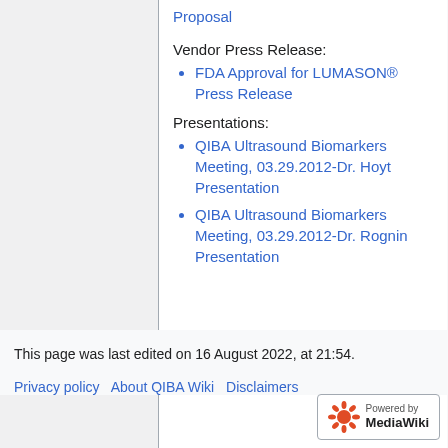Proposal
Vendor Press Release:
FDA Approval for LUMASON® Press Release
Presentations:
QIBA Ultrasound Biomarkers Meeting, 03.29.2012-Dr. Hoyt Presentation
QIBA Ultrasound Biomarkers Meeting, 03.29.2012-Dr. Rognin Presentation
This page was last edited on 16 August 2022, at 21:54.
Privacy policy   About QIBA Wiki   Disclaimers